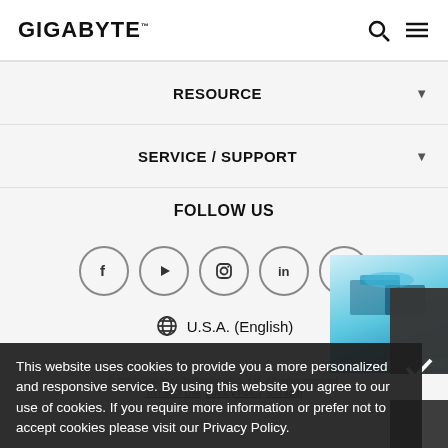GIGABYTE
RESOURCE
SERVICE / SUPPORT
FOLLOW US
[Figure (illustration): Social media icons in circles: Facebook, YouTube/Play, Instagram, LinkedIn, More (...)]
U.S.A. (English)
[Figure (illustration): 3D Industry banner showing isometric server room illustration with '3D INDUSTRY >' label]
This website uses cookies to provide you a more personalized and responsive service. By using this website you agree to our use of cookies. If you require more information or prefer not to accept cookies please visit our Privacy Policy.
© 2023 Giga-Byte Technology Co., Ltd. All rights reserved. | Terms Of Use  Privacy Policy  Site Map